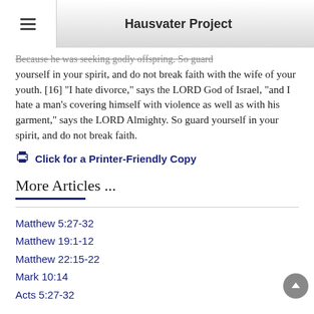Hausvater Project
Because he was seeking godly offspring. So guard yourself in your spirit, and do not break faith with the wife of your youth. [16] "I hate divorce," says the LORD God of Israel, "and I hate a man's covering himself with violence as well as with his garment," says the LORD Almighty. So guard yourself in your spirit, and do not break faith.
Click for a Printer-Friendly Copy
More Articles ...
Matthew 5:27-32
Matthew 19:1-12
Matthew 22:15-22
Mark 10:14
Acts 5:27-32